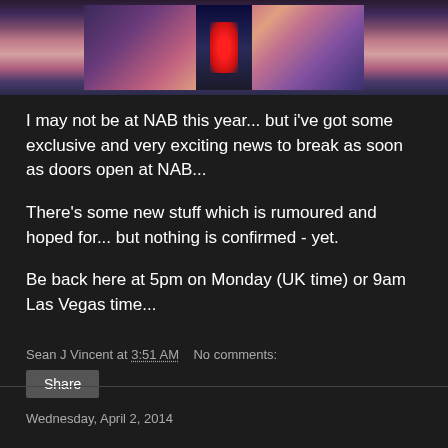[Figure (photo): Partial view of a Las Vegas sign or similar illuminated structure against a purple/pink sunset sky]
I may not be at NAB this year... but i've got some exclusive and very exciting news to break as soon as doors open at NAB...
There's some new stuff which is rumoured and hoped for... but nothing is confirmed - yet.
Be back here at 5pm on Monday (UK time) or 9am Las Vegas time...
Sean J Vincent at 3:51 AM    No comments:
Share
Wednesday, April 2, 2014